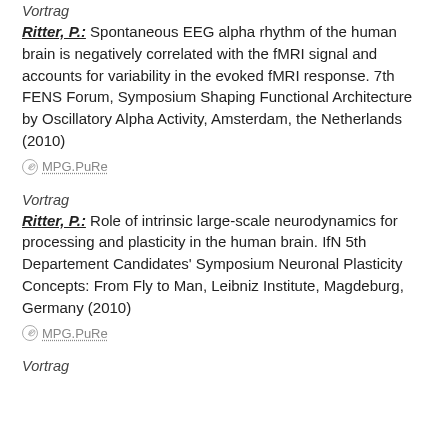Vortrag
Ritter, P.: Spontaneous EEG alpha rhythm of the human brain is negatively correlated with the fMRI signal and accounts for variability in the evoked fMRI response. 7th FENS Forum, Symposium Shaping Functional Architecture by Oscillatory Alpha Activity, Amsterdam, the Netherlands (2010)
⊘ MPG.PuRe
Vortrag
Ritter, P.: Role of intrinsic large-scale neurodynamics for processing and plasticity in the human brain. IfN 5th Departement Candidates' Symposium Neuronal Plasticity Concepts: From Fly to Man, Leibniz Institute, Magdeburg, Germany (2010)
⊘ MPG.PuRe
Vortrag